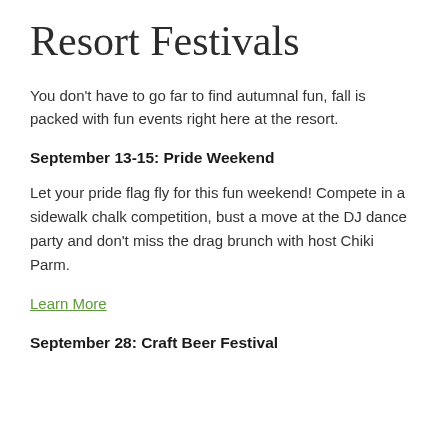Resort Festivals
You don't have to go far to find autumnal fun, fall is packed with fun events right here at the resort.
September 13-15: Pride Weekend
Let your pride flag fly for this fun weekend! Compete in a sidewalk chalk competition, bust a move at the DJ dance party and don't miss the drag brunch with host Chiki Parm.
Learn More
September 28: Craft Beer Festival